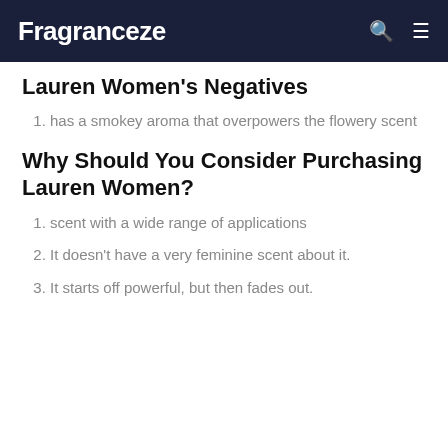Fragranceze
Lauren Women's Negatives
has a smokey aroma that overpowers the flowery scent
Why Should You Consider Purchasing Lauren Women?
scent with a wide range of applications
It doesn't have a very feminine scent about it.
It starts off powerful, but then fades out.